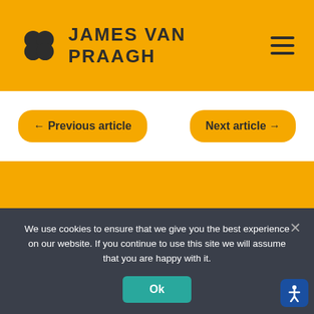JAMES VAN PRAAGH
← Previous article
Next article →
MEDIUMSHIP & PSYCHIC
We use cookies to ensure that we give you the best experience on our website. If you continue to use this site we will assume that you are happy with it.